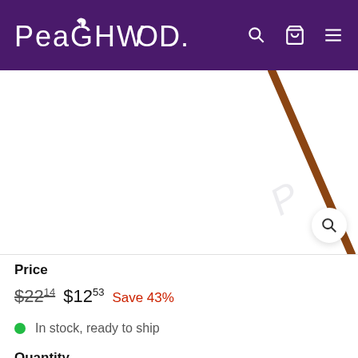PEACHWOOD
[Figure (photo): A diagonal wooden stick or skewer shown against a white background with a faint Peachwood watermark. A magnify/zoom button appears in the bottom-right corner of the image area.]
Price
$22.14  $12.53  Save 43%
In stock, ready to ship
Quantity